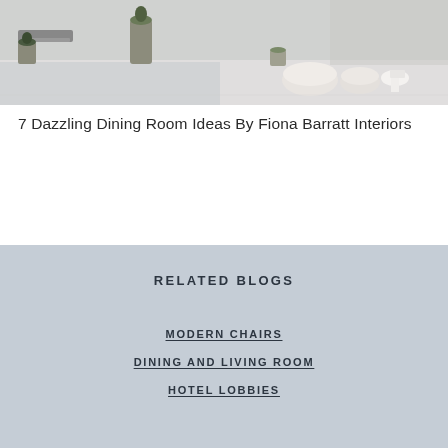[Figure (photo): Outdoor terrace or poolside area with white/grey furniture including rounded ottoman-style seats, a low white side table, planters with greenery, and lounge chairs in the background. Minimalist luxury hotel or interior design setting.]
7 Dazzling Dining Room Ideas By Fiona Barratt Interiors
RELATED BLOGS
MODERN CHAIRS
DINING AND LIVING ROOM
HOTEL LOBBIES